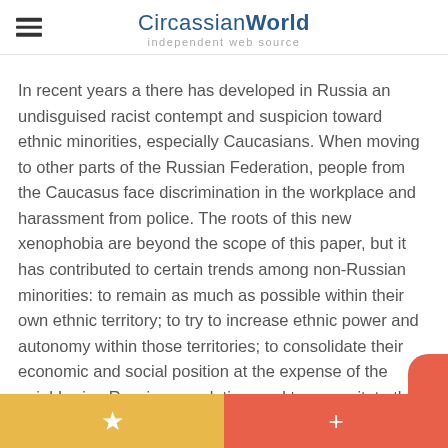CircassianWorld independent web source
In recent years a there has developed in Russia an undisguised racist contempt and suspicion toward ethnic minorities, especially Caucasians. When moving to other parts of the Russian Federation, people from the Caucasus face discrimination in the workplace and harassment from police. The roots of this new xenophobia are beyond the scope of this paper, but it has contributed to certain trends among non-Russian minorities: to remain as much as possible within their own ethnic territory; to try to increase ethnic power and autonomy within those territories; to consolidate their economic and social position at the expense of the neighboring Russian population; and to resuscitate their traditional culture, native language and in